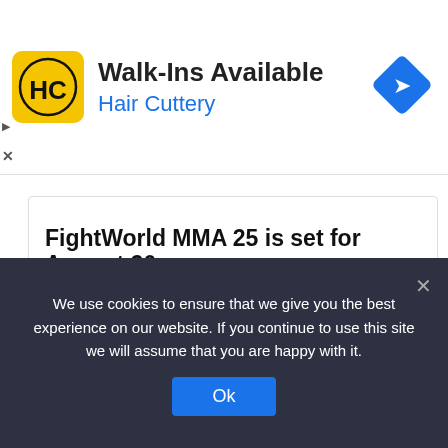[Figure (logo): Hair Cuttery advertisement banner with HC logo, 'Walk-Ins Available' headline, 'Hair Cuttery' subtitle, and a blue navigation/direction diamond icon]
min  ⊙ 1 hour ago  4 ↑
FightWorld MMA 25 is set for August 20
ALBUQUERQUE, NM: FightWorld MMA 25 is set to take place on Saturday, August 20, 2022, in Albuquerque, NM at Fit…
Read More »
Recent Posts
We use cookies to ensure that we give you the best experience on our website. If you continue to use this site we will assume that you are happy with it.
Ok